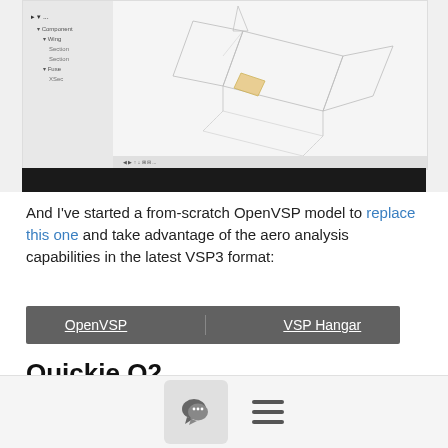[Figure (screenshot): OpenVSP software window showing an isometric wireframe 3D model of an aircraft with a tree panel on the left and a dark toolbar at the bottom of the application window.]
And I've started a from-scratch OpenVSP model to replace this one and take advantage of the aero analysis capabilities in the latest VSP3 format:
| OpenVSP | VSP Hangar |
| --- | --- |
Quickie Q2
| Iso | Top | Right | Front | Zoom |  |
| --- | --- | --- | --- | --- | --- |